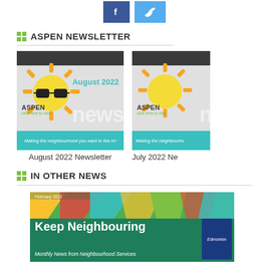[Figure (other): Social media buttons — Facebook (blue) and Twitter (light blue) icons at top of page]
ASPEN NEWSLETTER
[Figure (other): August 2022 Aspen Newsletter thumbnail — sun with sunglasses, teal text 'August 2022', grey background, teal footer bar 'Making the neighbourhood you want to live in!']
August 2022 Newsletter
[Figure (other): July 2022 Aspen Newsletter thumbnail — sun without sunglasses, grey background, teal footer bar 'Making the neighbourhood...' (partially visible)]
July 2022 Ne
IN OTHER NEWS
[Figure (other): Keep Neighbouring banner — colorful geometric shapes top, dark green background with bold white text 'Keep Neighbouring', italic subtitle 'Monthly News from Neighbourhood Services', Edmonton logo bottom right, date 'February 2021']